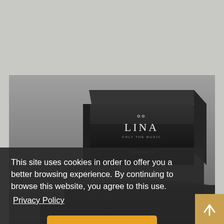[Figure (photo): Photo of a black LINA audio equipment/DAC device stacked on another black audio component, on a gray background. The top unit displays the brand logo and 'LINA' text with 'ONLY THE MUSIC' subtitle.]
This site uses cookies in order to offer you a better browsing experience. By continuing to browse this website, you agree to this use. Privacy Policy
OK